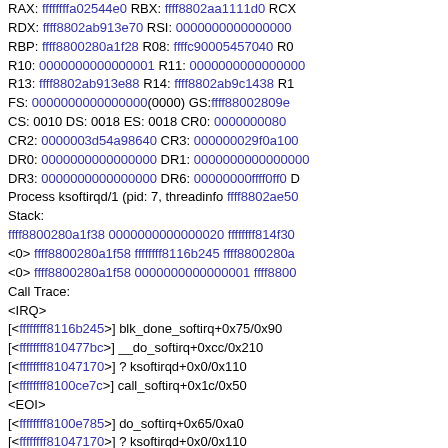RAX: ffffffffa02544e0 RBX: ffff8802aa1111d0 RCX: ... RDX: ffff8802ab913e70 RSI: 0000000000000000 RBP: ffff8800280a1f28 R08: ffffc90005457040 R09: ... R10: 0000000000000001 R11: 0000000000000000 R13: ffff8802ab913e88 R14: ffff8802ab9c1438 R15: ... FS: 0000000000000000(0000) GS:ffff88002809e... CS: 0010 DS: 0018 ES: 0018 CR0: 0000000080... CR2: 0000003d54a98640 CR3: 000000029f0a100... DR0: 0000000000000000 DR1: 0000000000000000 DR3: 0000000000000000 DR6: 00000000ffff0ff0 DR7:... Process ksoftirqd/1 (pid: 7, threadinfo ffff8802ae50... Stack: ffff8800280a1f38 0000000000000020 ffffffff814f30... <0> ffff8800280a1f58 ffffffff8116b245 ffff8800280a... <0> ffff8800280a1f58 0000000000000001 ffff8800... Call Trace: <IRQ> [<ffffffff8116b245>] blk_done_softirq+0x75/0x90 [<ffffffff810477bc>] __do_softirq+0xcc/0x210 [<ffffffff81047170>] ? ksoftirqd+0x0/0x110 [<ffffffff8100ce7c>] call_softirq+0x1c/0x50 <EOI> [<ffffffff8100e785>] do_softirq+0x65/0xa0 [<ffffffff81047170>] ? ksoftirqd+0x0/0x110 [<ffffffff8104710e0>] ksoftirqd+0x70/0x110 [<ffffffff81059559>] kthread+0x99/0xb0 [<ffffffff8100cd7a>] child_rip+0xa/0x20 [<ffffffff8100c73c>] ? restore_args+0x0/0x30 [<ffffffff810594c0>] ? kthread+0x0/0xb0 [<ffffffff8100cd70>] ? child_rip+0x0/0x20